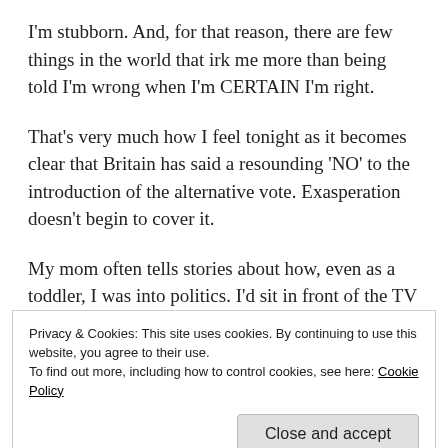I'm stubborn. And, for that reason, there are few things in the world that irk me more than being told I'm wrong when I'm CERTAIN I'm right.
That's very much how I feel tonight as it becomes clear that Britain has said a resounding 'NO' to the introduction of the alternative vote. Exasperation doesn't begin to cover it.
My mom often tells stories about how, even as a toddler, I was into politics. I'd sit in front of the TV and, in between episodes of Postman Pat and
Privacy & Cookies: This site uses cookies. By continuing to use this website, you agree to their use.
To find out more, including how to control cookies, see here: Cookie Policy
Close and accept